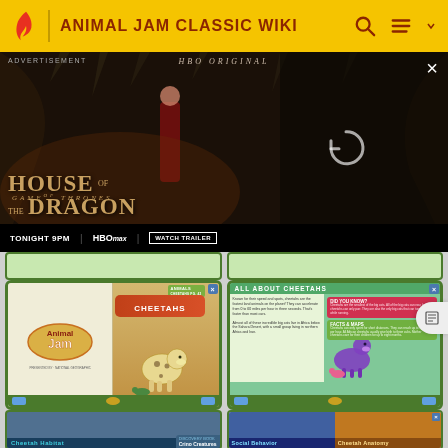ANIMAL JAM CLASSIC WIKI
[Figure (screenshot): HBO Original advertisement for House of the Dragon - Game of Thrones spinoff. Shows 'TONIGHT 9PM | HBO MAX | WATCH TRAILER'. A loading/refresh icon is visible on the right side.]
[Figure (screenshot): Animal Jam Classic Wiki page showing a grid of Discovery Book screenshots. Top row shows partially visible cheetah book pages. Middle row shows two open book spreads: left card has Animal Jam logo on left page and a cheetah character illustration on right page with 'CHEETAHS' banner. Right card shows 'ALL ABOUT CHEETAHS' text with Did You Know and Facts & Maps sections. Bottom row shows partially visible 'Cheetah Habitat', 'Discovery Book Critters', 'Social Behavior', and 'Cheetah Anatomy' cards.]